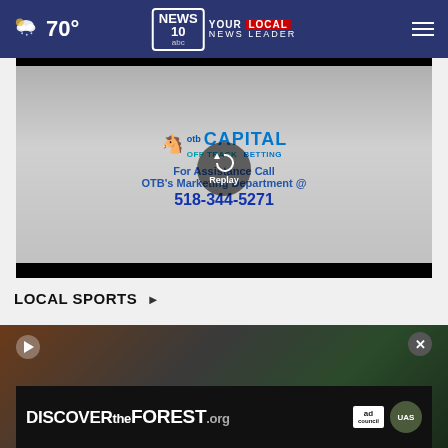70° | NEWS 10 ABC — YOUR LOCAL NEWS LEADER
[Figure (screenshot): Video player showing OTB Capital Off Track Betting advertisement. Text reads: For Assistance Call OTB's Marketing Department @ 518-344-5271. Replay button overlay visible.]
LOCAL SPORTS ▶
[Figure (photo): Sports video thumbnail showing athletes, with a play button overlay and close X button]
[Figure (infographic): Advertisement banner: DISCOVERtheFOREST.org with Ad Council and US Forest Service logos]